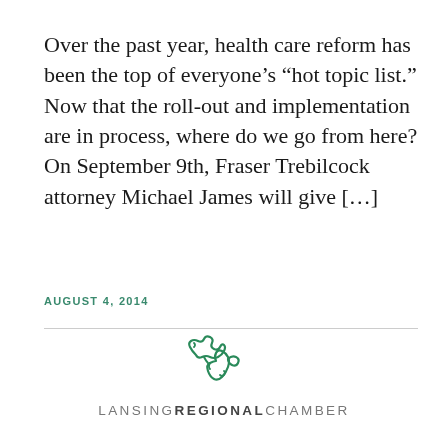Over the past year, health care reform has been the top of everyone’s “hot topic list.” Now that the roll-out and implementation are in process, where do we go from here? On September 9th, Fraser Trebilcock attorney Michael James will give […]
AUGUST 4, 2014
[Figure (logo): Lansing Regional Chamber of Commerce logo with Michigan state outline in teal/green and text LANSING REGIONAL CHAMBER]